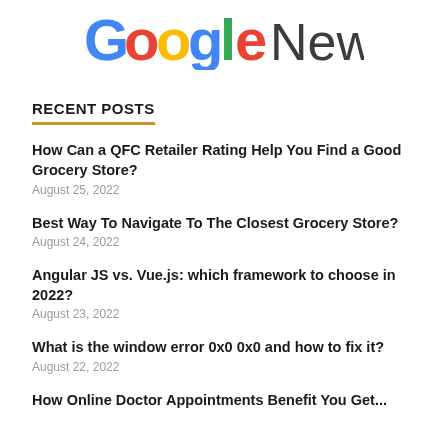[Figure (logo): Google News logo with Google in multicolor and News in dark gray]
RECENT POSTS
How Can a QFC Retailer Rating Help You Find a Good Grocery Store?
August 25, 2022
Best Way To Navigate To The Closest Grocery Store?
August 24, 2022
Angular JS vs. Vue.js: which framework to choose in 2022?
August 23, 2022
What is the window error 0x0 0x0 and how to fix it?
August 22, 2022
How Online Doctor Appointments Benefit You Get...